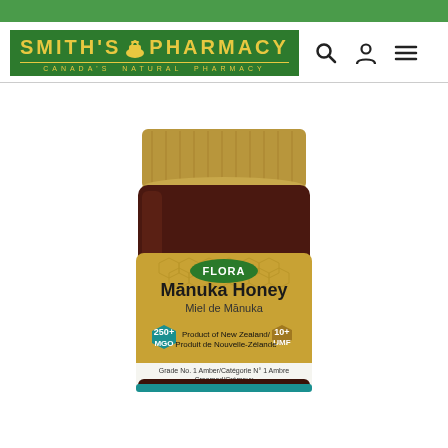[Figure (logo): Smith's Pharmacy logo - green background with gold text reading SMITH'S PHARMACY and mortar and pestle icon, subtitle CANADA'S NATURAL PHARMACY]
[Figure (photo): Flora brand Manuka Honey jar with gold/bronze lid and amber glass jar. Label shows: FLORA, Manuka Honey, Miel de Manuka, 250+ MGO, 10+ UMF, Product of New Zealand/Produit de Nouvelle-Zelande, Grade No. 1 Amber/Categorie No 1 Ambre, Creamed/Cremeux]